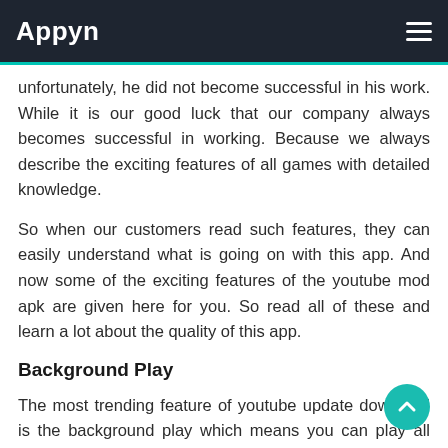Appyn
unfortunately, he did not become successful in his work. While it is our good luck that our company always becomes successful in working. Because we always describe the exciting features of all games with detailed knowledge.
So when our customers read such features, they can easily understand what is going on with this app. And now some of the exciting features of the youtube mod apk are given here for you. So read all of these and learn a lot about the quality of this app.
Background Play
The most trending feature of youtube update download is the background play which means you can play all sorts of videos in background mode. The official YouTube company appropriately supports this feature, but unfortunately, it does